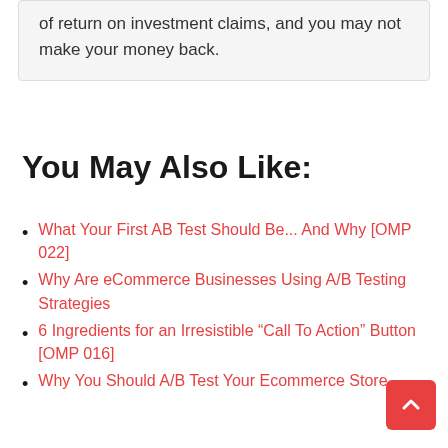of return on investment claims, and you may not make your money back.
You May Also Like:
What Your First AB Test Should Be... And Why [OMP 022]
Why Are eCommerce Businesses Using A/B Testing Strategies
6 Ingredients for an Irresistible “Call To Action” Button [OMP 016]
Why You Should A/B Test Your Ecommerce Store